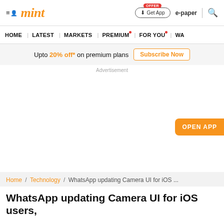mint
Upto 20% off* on premium plans  Subscribe Now
Advertisement
OPEN APP
Home / Technology / WhatsApp updating Camera UI for iOS ...
WhatsApp updating Camera UI for iOS users,